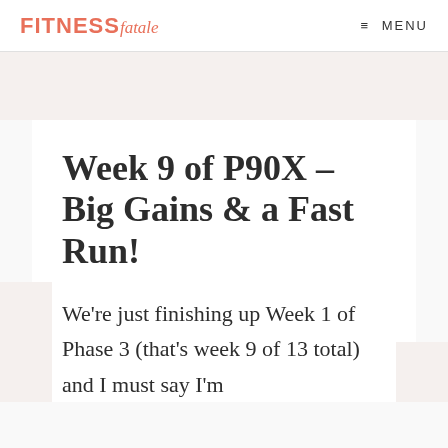FITNESS fatale   MENU
Week 9 of P90X – Big Gains & a Fast Run!
We're just finishing up Week 1 of Phase 3 (that's week 9 of 13 total) and I must say I'm